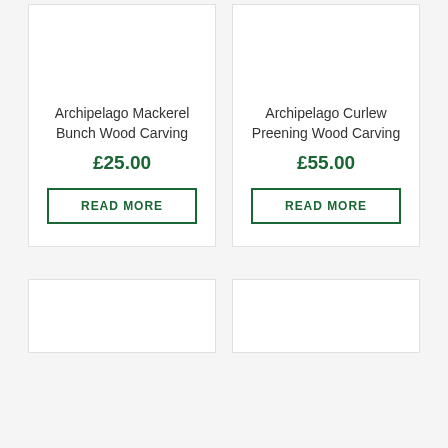Archipelago Mackerel Bunch Wood Carving
£25.00
READ MORE
Archipelago Curlew Preening Wood Carving
£55.00
READ MORE